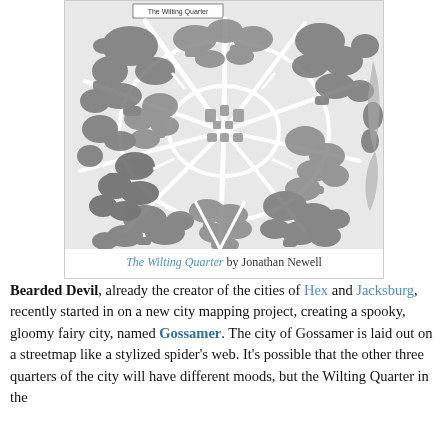[Figure (map): A detailed black and white fantasy city map showing 'The Wilting Quarter' — an intricate hand-drawn map with dense organic shapes representing buildings, trees, and streets laid out in a spider-web-like pattern. A small label box at the top reads 'The Wilting Quarter'.]
The Wilting Quarter by Jonathan Newell
Bearded Devil, already the creator of the cities of Hex and Jacksburg, recently started in on a new city mapping project, creating a spooky, gloomy fairy city, named Gossamer. The city of Gossamer is laid out on a streetmap like a stylized spider's web. It's possible that the other three quarters of the city will have different moods, but the Wilting Quarter in the